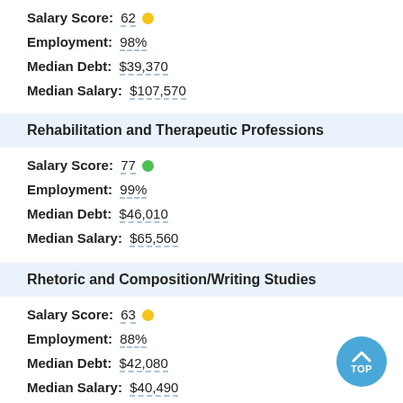Salary Score: 62
Employment: 98%
Median Debt: $39,370
Median Salary: $107,570
Rehabilitation and Therapeutic Professions
Salary Score: 77
Employment: 99%
Median Debt: $46,010
Median Salary: $65,560
Rhetoric and Composition/Writing Studies
Salary Score: 63
Employment: 88%
Median Debt: $42,080
Median Salary: $40,490